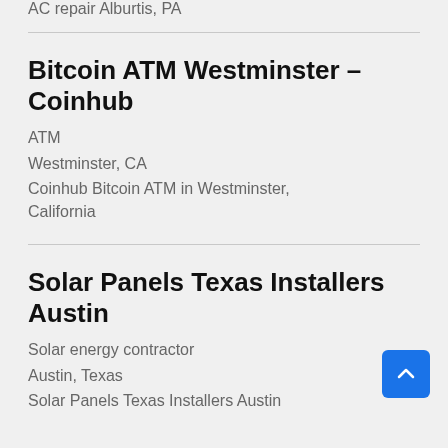AC repair Alburtis, PA
Bitcoin ATM Westminster – Coinhub
ATM
Westminster, CA
Coinhub Bitcoin ATM in Westminster, California
Solar Panels Texas Installers Austin
Solar energy contractor
Austin, Texas
Solar Panels Texas Installers Austin